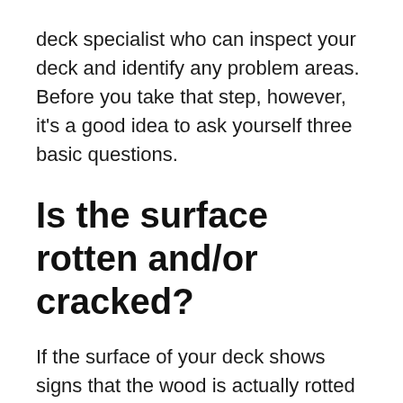deck specialist who can inspect your deck and identify any problem areas. Before you take that step, however, it's a good idea to ask yourself three basic questions.
Is the surface rotten and/or cracked?
If the surface of your deck shows signs that the wood is actually rotted or cracked in places, safety is definitely an issue. Rotten wood can easily cave when too much weight is placed on it, and cracks can also develop into serious safety concerns. One piece of good news: You might not have to tear your deck down just because the surface is in rough